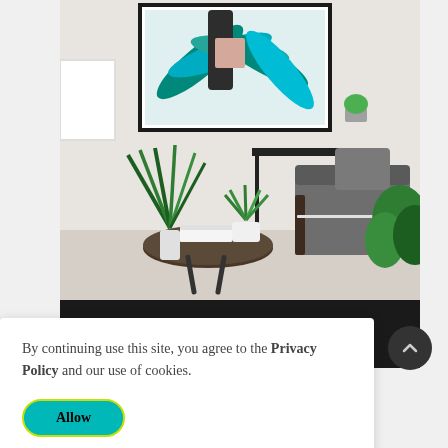[Figure (photo): Interior design photo showing a modern living room with a gray armchair, round wooden coffee table with books and a plant, framed tropical art print on the wall, and green plants]
[Figure (screenshot): Dark toolbar with four icons: shopping cart, heart/wishlist, bar chart/statistics, and eye/view icons]
By continuing use this site, you agree to the Privacy Policy and our use of cookies.
Allow